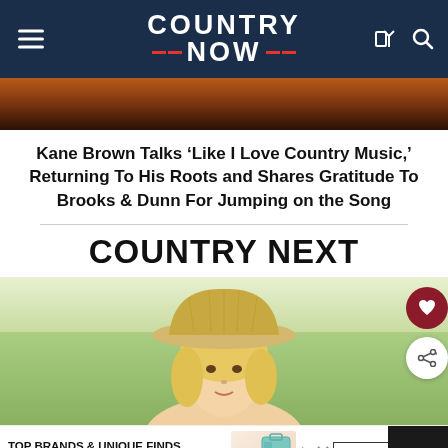COUNTRY NOW
[Figure (photo): Dark warm-toned background image, partial view cropped at top]
Kane Brown Talks 'Like I Love Country Music,' Returning To His Roots and Shares Gratitude To Brooks & Dunn For Jumping on the Song
COUNTRY NEXT
[Figure (photo): Blonde woman wearing a straw hat outdoors with greenery in background]
[Figure (screenshot): Advertisement banner: TOP BRANDS & UNIQUE FINDS - Daily deals up to 70% off - SHOP NOW - zeelily]